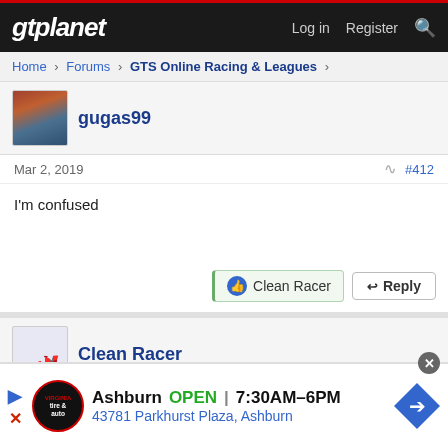gtplanet — Log in  Register
Home > Forums > GTS Online Racing & Leagues >
gugas99
Mar 2, 2019  #412
I'm confused
Clean Racer  Reply
Clean Racer
Mar 3, 2019  #413
[Figure (screenshot): Ad banner: Virginia Tire & Auto, Ashburn OPEN 7:30AM-6PM, 43781 Parkhurst Plaza, Ashburn]